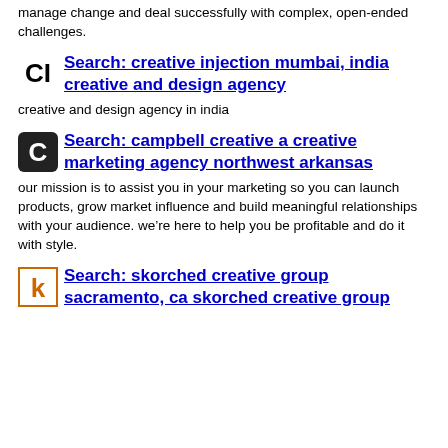manage change and deal successfully with complex, open-ended challenges.
Search: creative injection mumbai, india creative and design agency
creative and design agency in india
Search: campbell creative a creative marketing agency northwest arkansas
our mission is to assist you in your marketing so you can launch products, grow market influence and build meaningful relationships with your audience. we’re here to help you be profitable and do it with style.
Search: skorched creative group sacramento, ca skorched creative group